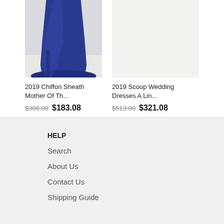[Figure (photo): Blue chiffon sheath evening dress on white background, showing lower portion of dress with train]
[Figure (photo): White/light colored wedding dress on light background, mostly blank upper area visible]
2019 Chiffon Sheath Mother Of Th...
$306.00 $183.08
2019 Scoop Wedding Dresses A Lin...
$513.00 $321.08
HELP
Search
About Us
Contact Us
Shipping Guide